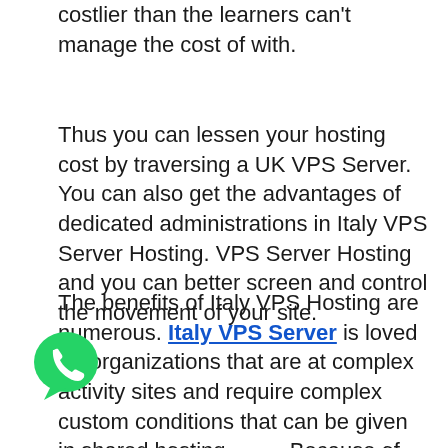costlier than the learners can't manage the cost of with.
Thus you can lessen your hosting cost by traversing a UK VPS Server. You can also get the advantages of dedicated administrations in Italy VPS Server Hosting. VPS Server Hosting and you can better screen and control the movement of your site.
The benefits of Italy VPS Hosting are numerous. Italy VPS Server is loved for organizations that are at complex activity sites and require complex custom conditions that can be given in shared hosting. Because of the commonality of the Windows application to various sorts of web hosting, managers can undoubtedly change Italy VPS Server
[Figure (logo): WhatsApp green chat bubble icon]